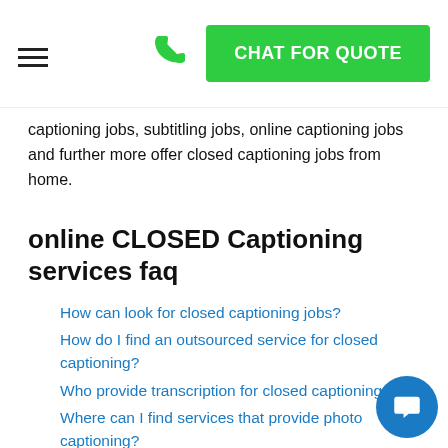☰  📞  CHAT FOR QUOTE
captioning jobs, subtitling jobs, online captioning jobs and further more offer closed captioning jobs from home.
online CLOSED Captioning services faq
How can look for closed captioning jobs?
How do I find an outsourced service for closed captioning?
Who provide transcription for closed captioning?
Where can I find services that provide photo captioning?
Where can I find broadcast captioning companies?
How can I find the rates for closed captioning services?
What are the exact rates for video captioning?